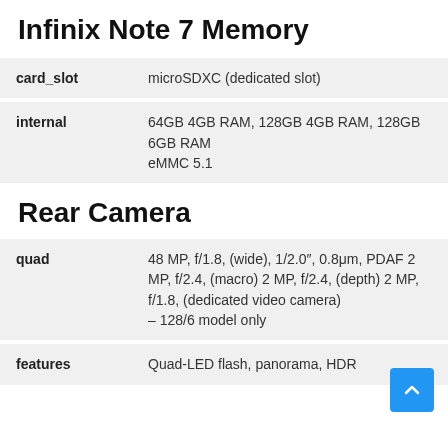Infinix Note 7 Memory
|  |  |
| --- | --- |
| card_slot | microSDXC (dedicated slot) |
| internal | 64GB 4GB RAM, 128GB 4GB RAM, 128GB 6GB RAM
eMMC 5.1 |
Rear Camera
|  |  |
| --- | --- |
| quad | 48 MP, f/1.8, (wide), 1/2.0″, 0.8μm, PDAF 2 MP, f/2.4, (macro) 2 MP, f/2.4, (depth) 2 MP, f/1.8, (dedicated video camera)
– 128/6 model only |
| features | Quad-LED flash, panorama, HDR |